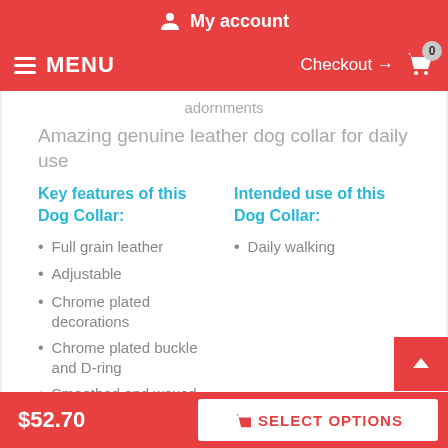My account
MENU  Checkout → 0
adornments
Amazing genuine leather dog collar for daily use
Key features of this Dog Collar:
Intended use of this Dog Collar:
Full grain leather
Adjustable
Chrome plated decorations
Chrome plated buckle and D-ring
Smoothed and waxed edges
Handcrafted
Daily walking
$52.70  SELECT OPTIONS